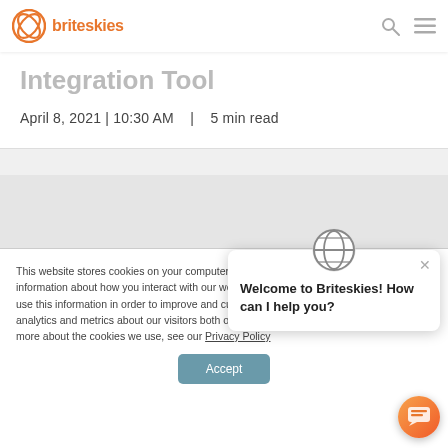[Figure (logo): Briteskies logo with orange circle icon and orange text 'briteskies']
Integration Tool
April 8, 2021 | 10:30 AM   |   5 min read
This website stores cookies on your computer. These cookies are used to collect information about how you interact with our website and allow us to remember you. We use this information in order to improve and customize your browsing experience and for analytics and metrics about our visitors both on this website and other media. To find out more about the cookies we use, see our Privacy Policy
[Figure (screenshot): Chat popup with Briteskies avatar icon and message 'Welcome to Briteskies! How can I help you?' with close X button]
[Figure (illustration): Orange gradient circular chat button with chat icon]